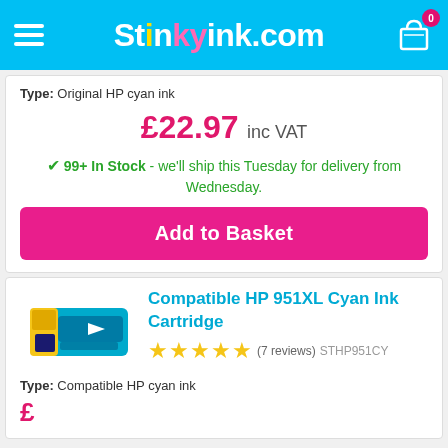StinkyInk.com
Type: Original HP cyan ink
£22.97 inc VAT
✔ 99+ In Stock - we'll ship this Tuesday for delivery from Wednesday.
Add to Basket
[Figure (photo): Compatible HP 951XL Cyan Ink Cartridge product image]
Compatible HP 951XL Cyan Ink Cartridge
★★★★★ (7 reviews) STHP951CY
Type: Compatible HP cyan ink